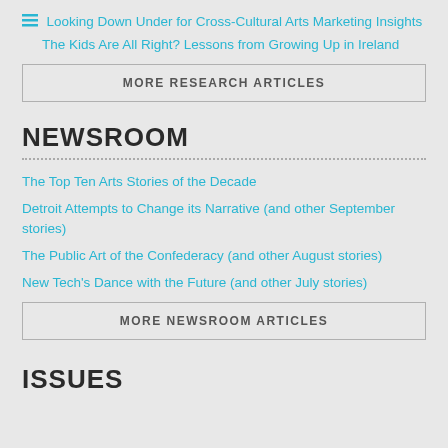Looking Down Under for Cross-Cultural Arts Marketing Insights
The Kids Are All Right? Lessons from Growing Up in Ireland
MORE RESEARCH ARTICLES
NEWSROOM
The Top Ten Arts Stories of the Decade
Detroit Attempts to Change its Narrative (and other September stories)
The Public Art of the Confederacy (and other August stories)
New Tech's Dance with the Future (and other July stories)
MORE NEWSROOM ARTICLES
ISSUES